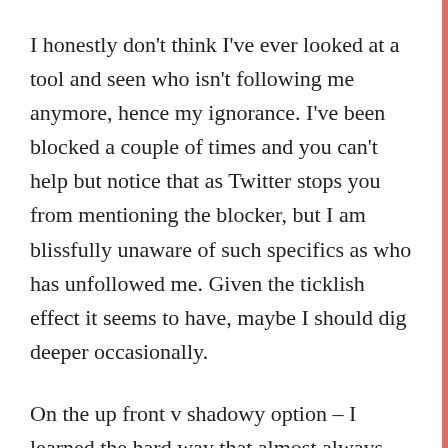I honestly don't think I've ever looked at a tool and seen who isn't following me anymore, hence my ignorance. I've been blocked a couple of times and you can't help but notice that as Twitter stops you from mentioning the blocker, but I am blissfully unaware of such specifics as who has unfollowed me. Given the ticklish effect it seems to have, maybe I should dig deeper occasionally.
On the up front v shadowy option – I learned the hard way that almost always – your explanation here makes